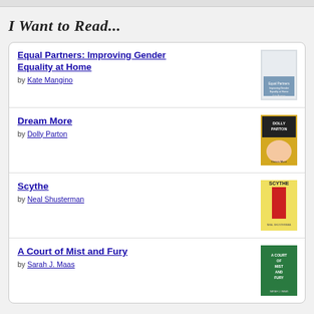I Want to Read...
Equal Partners: Improving Gender Equality at Home by Kate Mangino
Dream More by Dolly Parton
Scythe by Neal Shusterman
A Court of Mist and Fury by Sarah J. Maas